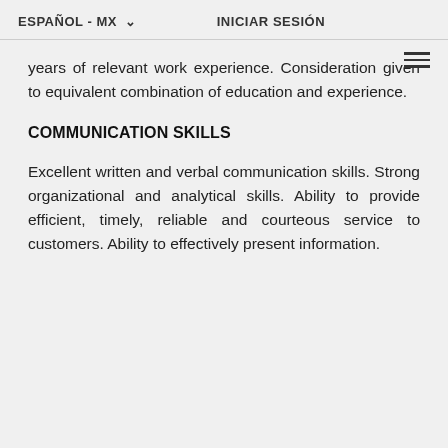ESPAÑOL - MX ▾    INICIAR SESIÓN
years of relevant work experience. Consideration given to equivalent combination of education and experience.
COMMUNICATION SKILLS
Excellent written and verbal communication skills. Strong organizational and analytical skills. Ability to provide efficient, timely, reliable and courteous service to customers. Ability to effectively present information.